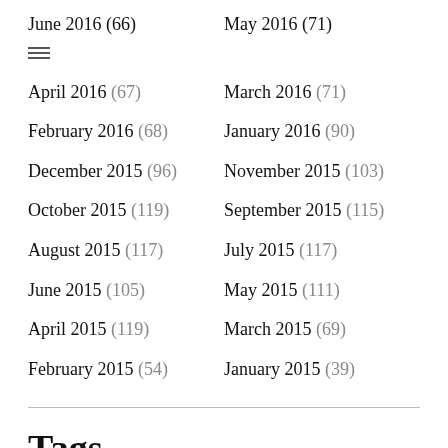June 2016 (66)
May 2016 (71)
April 2016 (67)
March 2016 (71)
February 2016 (68)
January 2016 (90)
December 2015 (96)
November 2015 (103)
October 2015 (119)
September 2015 (115)
August 2015 (117)
July 2015 (117)
June 2015 (105)
May 2015 (111)
April 2015 (119)
March 2015 (69)
February 2015 (54)
January 2015 (39)
Tags